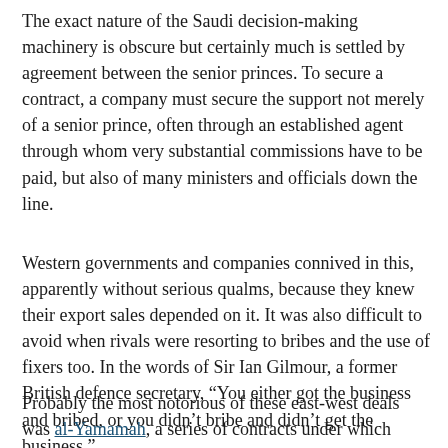The exact nature of the Saudi decision-making machinery is obscure but certainly much is settled by agreement between the senior princes. To secure a contract, a company must secure the support not merely of a senior prince, often through an established agent through whom very substantial commissions have to be paid, but also of many ministers and officials down the line.
Western governments and companies connived in this, apparently without serious qualms, because they knew their export sales depended on it. It was also difficult to avoid when rivals were resorting to bribes and the use of fixers too. In the words of Sir Ian Gilmour, a former British defence secretary, “You either got the business and bribed, or you didn’t bribe and didn’t get the business.”
Probably the most notorious of these east-west deals was al-Yamamah, a series of contracts under which Britain